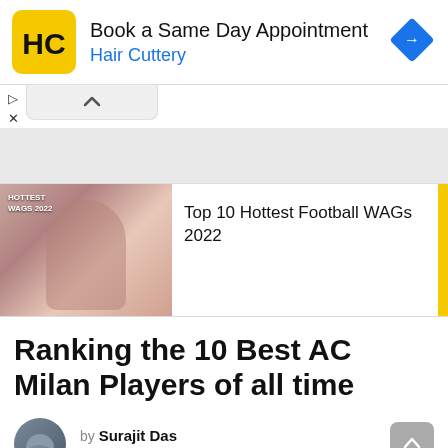[Figure (screenshot): Advertisement banner for Hair Cuttery with logo, text 'Book a Same Day Appointment' and 'Hair Cuttery', navigation arrow icon on right]
Book a Same Day Appointment
Hair Cuttery
[Figure (screenshot): Collapsed ad controls with up caret and X icons]
[Figure (screenshot): Gray area with collapse bar showing upward caret]
[Figure (photo): Article thumbnail showing woman athlete with text 'HOTTEST WAGS 2022']
Top 10 Hottest Football WAGs 2022
Ranking the 10 Best AC Milan Players of all time
by Surajit Das
4 months ago